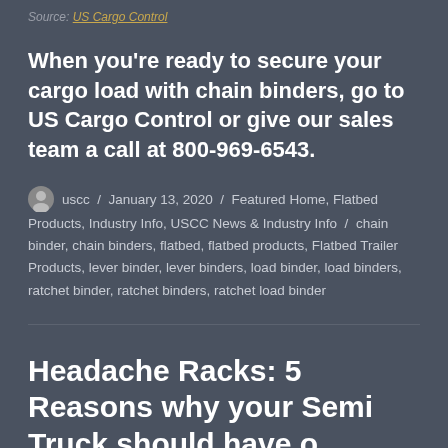Source: US Cargo Control
When you’re ready to secure your cargo load with chain binders, go to US Cargo Control or give our sales team a call at 800-969-6543.
uscc / January 13, 2020 / Featured Home, Flatbed Products, Industry Info, USCC News & Industry Info / chain binder, chain binders, flatbed, flatbed products, Flatbed Trailer Products, lever binder, lever binders, load binder, load binders, ratchet binder, ratchet binders, ratchet load binder
Headache Racks: 5 Reasons why your Semi Truck should have one